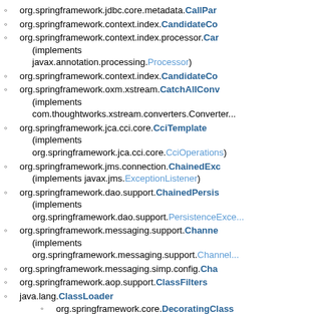org.springframework.jdbc.core.metadata.CallPa...
org.springframework.context.index.CandidateCo...
org.springframework.context.index.processor.Car... (implements javax.annotation.processing.Processor)
org.springframework.context.index.CandidateCo...
org.springframework.oxm.xstream.CatchAllConv... (implements com.thoughtworks.xstream.converters.Converter...)
org.springframework.jca.cci.core.CciTemplate (implements org.springframework.jca.cci.core.CciOperations)
org.springframework.jms.connection.ChainedExc... (implements javax.jms.ExceptionListener)
org.springframework.dao.support.ChainedPersis... (implements org.springframework.dao.support.PersistenceExce...)
org.springframework.messaging.support.Channe... (implements org.springframework.messaging.support.Channel...)
org.springframework.messaging.simp.config.Cha...
org.springframework.aop.support.ClassFilters
java.lang.ClassLoader
org.springframework.core.DecoratingClass...
org.springframework.core.Overriding...
org.springframework.instrument...
org.springframework.instrument...
org.springframework.instrument.class...